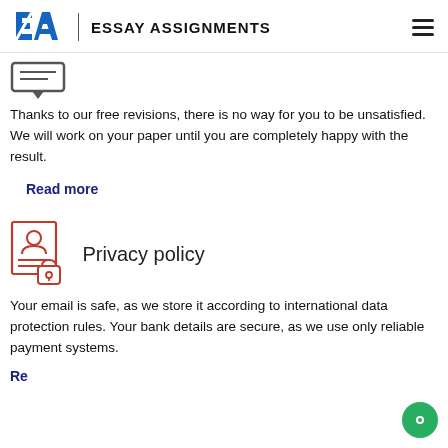EA | ESSAY ASSIGNMENTS
[Figure (illustration): Chat bubble / revision icon - rectangular speech bubble icon in outline style]
Thanks to our free revisions, there is no way for you to be unsatisfied. We will work on your paper until you are completely happy with the result.
Read more
[Figure (illustration): Privacy policy icon - document with a person silhouette and a padlock, outlined in red/orange]
Privacy policy
Your email is safe, as we store it according to international data protection rules. Your bank details are secure, as we use only reliable payment systems.
Read more